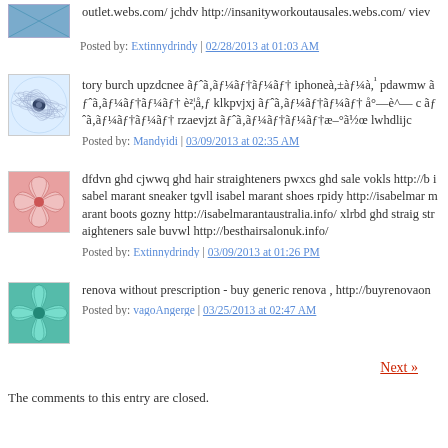outlet.webs.com/ jchdv http://insanityworkoutausales.webs.com/ view
Posted by: Extinnydrindy | 02/28/2013 at 01:03 AM
[Figure (illustration): Avatar image with geometric circular pattern in blue/teal tones]
tory burch upzdcnee ãƒˆã‚ãƒ¼ãƒ†ãƒ¼ãƒ†ã iphone à,±àƒ¼à,¹ pdawmw ãƒˆã‚ãƒ¼ãƒ†ãƒ¼ãƒ† è²¦å,ƒ klkpvjxj ãƒˆã‚ãƒ¼ãƒ†ãƒ¼ãƒ† å°—è^— c ãƒˆã‚ãƒ¼ãƒ†ãƒ¼ãƒ† rzaevjzt ãƒˆã‚ãƒ¼ãƒ†ãƒ¼ãƒ†æ–°ã½œ lwhdlijc
Posted by: Mandyidi | 03/09/2013 at 02:35 AM
[Figure (illustration): Avatar image with floral/leaf pattern in red/pink tones]
dfdvn ghd cjwwq ghd hair straighteners pwxcs ghd sale vokls http://b isabel marant sneaker tgvll isabel marant shoes rpidy http://isabelmar marant boots gozny http://isabelmarantaustralia.info/ xlrbd ghd straig straighteners sale buvwl http://besthairsalonuk.info/
Posted by: Extinnydrindy | 03/09/2013 at 01:26 PM
[Figure (illustration): Avatar image with geometric fan/leaf pattern in teal/green tones]
renova without prescription - buy generic renova , http://buyrenovaon
Posted by: vagoAngerge | 03/25/2013 at 02:47 AM
Next »
The comments to this entry are closed.